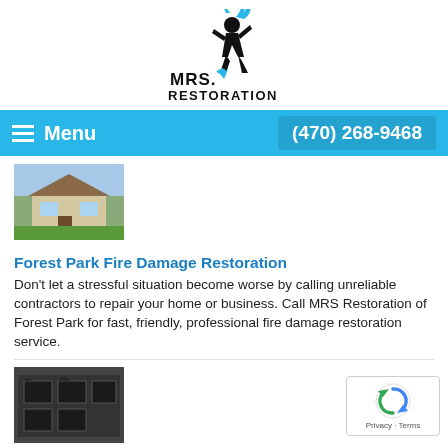[Figure (logo): MRS. Restoration logo — running figure with blue flame/water, bold text MRS. RESTORATION]
Menu   (470) 268-9468
[Figure (photo): Photo of a house exterior with green lawn]
Forest Park Fire Damage Restoration
Don't let a stressful situation become worse by calling unreliable contractors to repair your home or business. Call MRS Restoration of Forest Park for fast, friendly, professional fire damage restoration service.
[Figure (photo): Photo of a fire/smoke damaged building exterior]
Forest Park Smoke Damage Restoration
Need smoke damage restoration in Forest Park? Call MRS Restoration your local trusted…